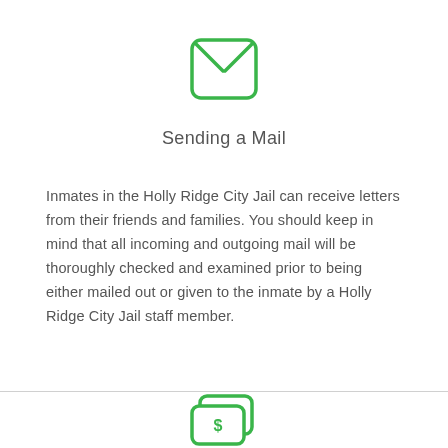[Figure (illustration): Green envelope icon with X/cross pattern inside, rounded square border, representing mail]
Sending a Mail
Inmates in the Holly Ridge City Jail can receive letters from their friends and families. You should keep in mind that all incoming and outgoing mail will be thoroughly checked and examined prior to being either mailed out or given to the inmate by a Holly Ridge City Jail staff member.
[Figure (illustration): Green cash/money icon partially visible at bottom of page]